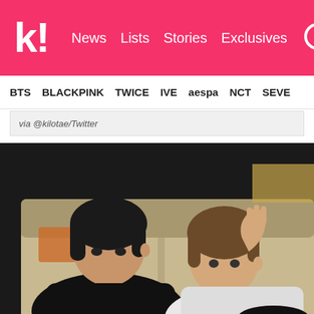k! News Lists Stories Exclusives
BTS BLACKPINK TWICE IVE aespa NCT SEVE
via @kilotae/Twitter
[Figure (photo): Three people sitting on a couch. On the left, a person wearing a black outfit with dark hair and a necklace. In the center-right, a person with medium brown hair wearing a white top, resting their hand on their face. In the bottom right, a person with dark hair wearing glasses, partially visible.]